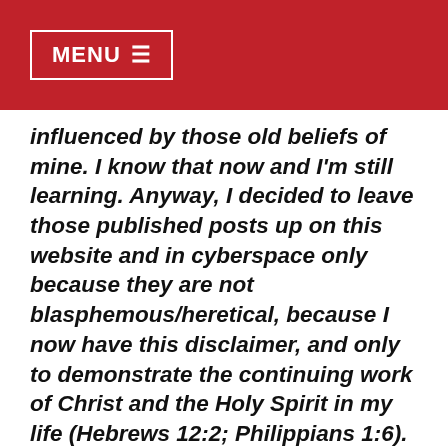MENU ☰
influenced by those old beliefs of mine. I know that now and I'm still learning. Anyway, I decided to leave those published posts up on this website and in cyberspace only because they are not blasphemous/heretical, because I now have this disclaimer, and only to demonstrate the continuing work of Christ and the Holy Spirit in my life (Hebrews 12:2; Philippians 1:6). Most importantly, please know that any time I engage in commenting on and/or interpreting a specific portion of the holy Scriptures, it will always closely follow the verse-by-verse footnotes from my Lutheran Study Bible and/or include references to the Book of Concord unless otherwise noted. Typically, I will defer to what other Lutheran Pastors both past and present have already preached and taught about such passages since they are the called and ordained under-shepherds of our souls here on earth. Finally, I'm going to